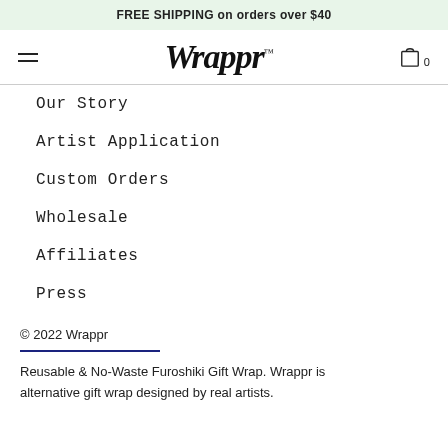FREE SHIPPING on orders over $40
[Figure (logo): Wrappr script logo with hamburger menu and cart icon showing 0 items]
Our Story
Artist Application
Custom Orders
Wholesale
Affiliates
Press
© 2022 Wrappr
Reusable & No-Waste Furoshiki Gift Wrap. Wrappr is alternative gift wrap designed by real artists.